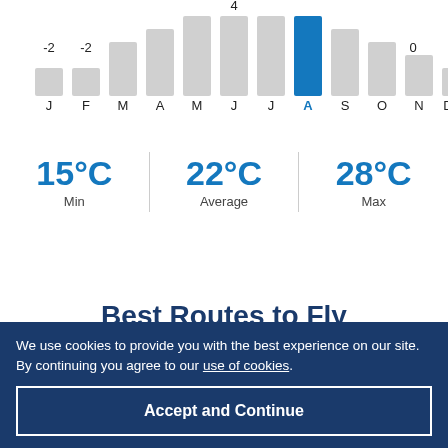[Figure (bar-chart): Monthly temperature chart]
15°C Min | 22°C Average | 28°C Max
Best Routes to Fly
Find the right flight for you to Pennsylvania
We use cookies to provide you with the best experience on our site. By continuing you agree to our use of cookies.
Accept and Continue